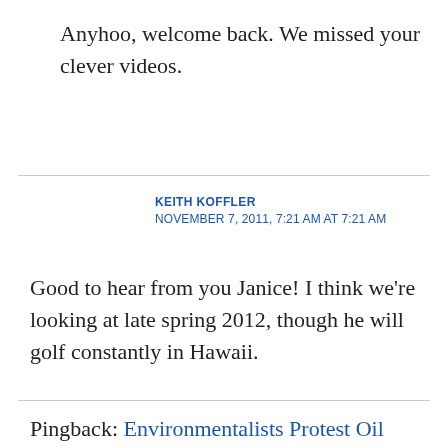Anyhoo, welcome back. We missed your clever videos.
KEITH KOFFLER
NOVEMBER 7, 2011, 7:21 AM AT 7:21 AM
Good to hear from you Janice! I think we're looking at late spring 2012, though he will golf constantly in Hawaii.
Pingback: Environmentalists Protest Oil